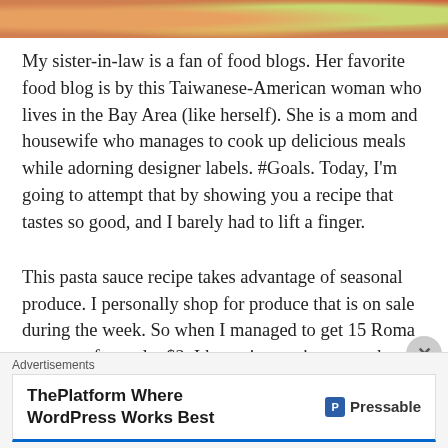[Figure (photo): Top strip of a food photo showing colorful ingredients including tomatoes and vegetables]
My sister-in-law is a fan of food blogs. Her favorite food blog is by this Taiwanese-American woman who lives in the Bay Area (like herself). She is a mom and housewife who manages to cook up delicious meals while adorning designer labels. #Goals. Today, I'm going to attempt that by showing you a recipe that tastes so good, and I barely had to lift a finger.
This pasta sauce recipe takes advantage of seasonal produce. I personally shop for produce that is on sale during the week. So when I managed to get 15 Roma tomatoes for under $2, I knew it was time to make pasta sauce. You can use any tomatoes of your choice, but I think Roma makes the best sauce because it's flavorful and juicy. It freezes really well without loss to flavor or
[Figure (screenshot): Advertisement banner: ThePlatform Where WordPress Works Best - Pressable]
Advertisements